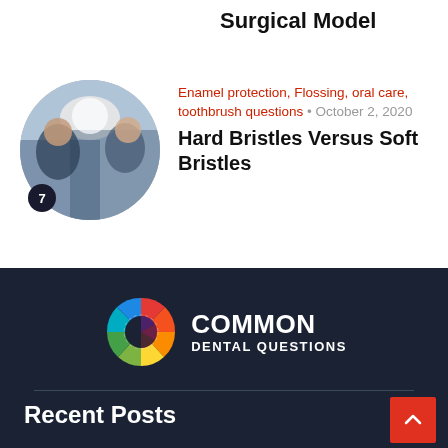Surgical Model
[Figure (photo): Circular thumbnail photo of a dental/surgical procedure scene, numbered 7]
Enamel protection, Flossing, oral care, toothbrush questions • October 2, 2020
Hard Bristles Versus Soft Bristles
[Figure (logo): Common Dental Questions logo with colorful pie/wheel graphic and white text on dark background]
Recent Posts